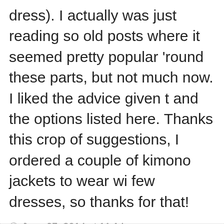dress). I actually was just reading so old posts where it seemed pretty popular 'round these parts, but not much now. I liked the advice given t and the options listed here. Thanks this crop of suggestions, I ordered a couple of kimono jackets to wear wi few dresses, so thanks for that!
June 27, 2014 at 11:14 am